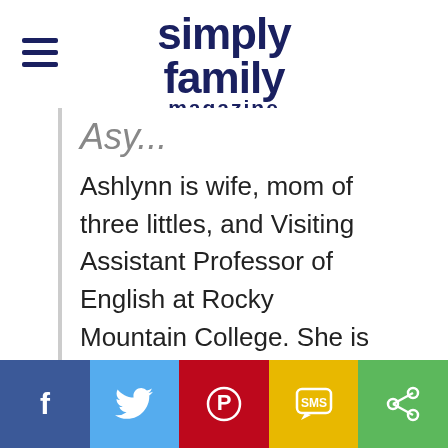simply family magazine
Ashlynn is wife, mom of three littles, and Visiting Assistant Professor of English at Rocky Mountain College. She is an introvert who is uncharacteristically social and loves family, learning, travel, animals, and all things Montana.
[Figure (infographic): Social sharing bar with Facebook, Twitter, Pinterest, SMS, and Share buttons]